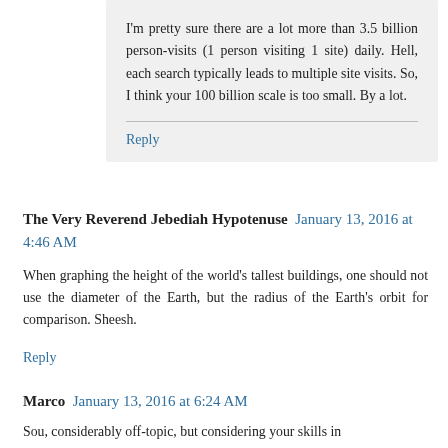I'm pretty sure there are a lot more than 3.5 billion person-visits (1 person visiting 1 site) daily. Hell, each search typically leads to multiple site visits. So, I think your 100 billion scale is too small. By a lot.
Reply
The Very Reverend Jebediah Hypotenuse  January 13, 2016 at 4:46 AM
When graphing the height of the world's tallest buildings, one should not use the diameter of the Earth, but the radius of the Earth's orbit for comparison. Sheesh.
Reply
Marco  January 13, 2016 at 6:24 AM
Sou, considerably off-topic, but considering your skills in